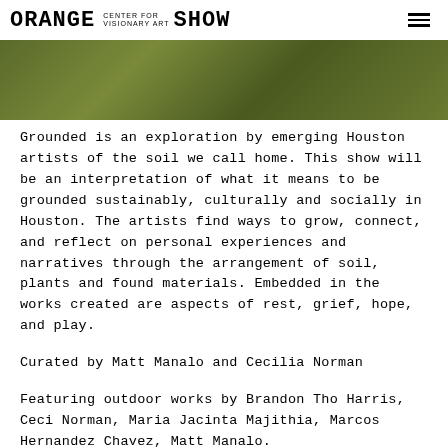ORANGE CENTER FOR VISIONARY ART SHOW
[Figure (photo): Blurred outdoor greenery/nature photo used as hero banner image]
Grounded is an exploration by emerging Houston artists of the soil we call home. This show will be an interpretation of what it means to be grounded sustainably, culturally and socially in Houston. The artists find ways to grow, connect, and reflect on personal experiences and narratives through the arrangement of soil, plants and found materials. Embedded in the works created are aspects of rest, grief, hope, and play.
Curated by Matt Manalo and Cecilia Norman
Featuring outdoor works by Brandon Tho Harris, Ceci Norman, Maria Jacinta Majithia, Marcos Hernandez Chavez, Matt Manalo.
Opening reception September 17,